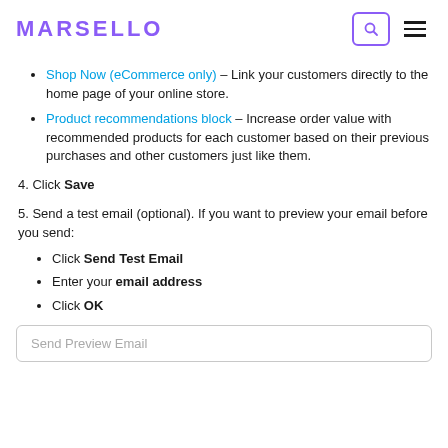MARSELLO
Shop Now (eCommerce only) – Link your customers directly to the home page of your online store.
Product recommendations block – Increase order value with recommended products for each customer based on their previous purchases and other customers just like them.
4. Click Save
5. Send a test email (optional). If you want to preview your email before you send:
Click Send Test Email
Enter your email address
Click OK
Send Preview Email